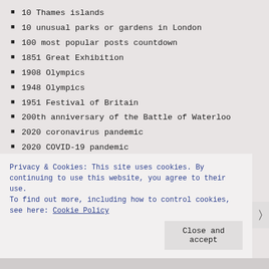10 Thames islands
10 unusual parks or gardens in London
100 most popular posts countdown
1851 Great Exhibition
1908 Olympics
1948 Olympics
1951 Festival of Britain
200th anniversary of the Battle of Waterloo
2020 coronavirus pandemic
2020 COVID-19 pandemic
21st century
300th anniversary of Hanoverian accession
300th anniversary of the birth of Lancelot 'Capability' Brown
4 unusual London Christmas traditions
Privacy & Cookies: This site uses cookies. By continuing to use this website, you agree to their use.
To find out more, including how to control cookies, see here: Cookie Policy